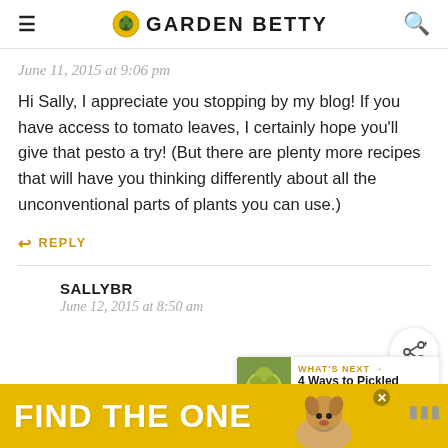GARDEN BETTY
June 11, 2015 at 9:06 pm
Hi Sally, I appreciate you stopping by my blog! If you have access to tomato leaves, I certainly hope you'll give that pesto a try! (But there are plenty more recipes that will have you thinking differently about all the unconventional parts of plants you can use.)
REPLY
SALLYBR
June 12, 2015 at 8:50 am
[Figure (other): What's Next card: 4 Ways to Pickled Gree...]
[Figure (other): Advertisement banner: FIND THE ONE with dog image]